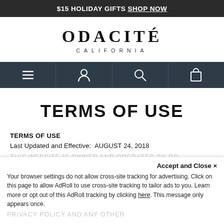$15 HOLIDAY GIFTS SHOP NOW
[Figure (logo): ODACITÉ CALIFORNIA brand logo in serif font]
[Figure (screenshot): Navigation bar with hamburger menu, user account, search, and bag icons on dark background]
TERMS OF USE
TERMS OF USE
Last Updated and Effective:  AUGUST 24, 2018
THIS WEBSITE IS OWNED AND OPERATED BY OD...
Accept and Close ×
Your browser settings do not allow cross-site tracking for advertising. Click on this page to allow AdRoll to use cross-site tracking to tailor ads to you. Learn more or opt out of this AdRoll tracking by clicking here. This message only appears once.
PRIVACY POLICY AND ANY OTHER